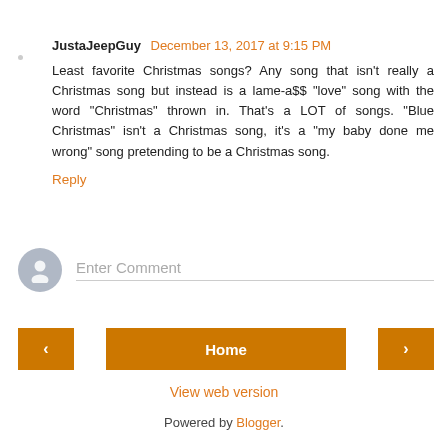JustaJeepGuy December 13, 2017 at 9:15 PM
Least favorite Christmas songs? Any song that isn't really a Christmas song but instead is a lame-a$$ "love" song with the word "Christmas" thrown in. That's a LOT of songs. "Blue Christmas" isn't a Christmas song, it's a "my baby done me wrong" song pretending to be a Christmas song.
Reply
Enter Comment
Home
View web version
Powered by Blogger.